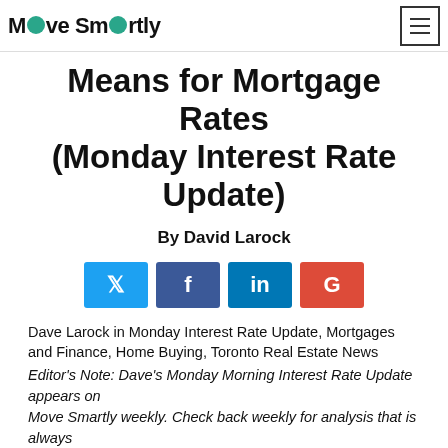Move Smartly — Means for Mortgage Rates (Monday Interest Rate Update)
Means for Mortgage Rates (Monday Interest Rate Update)
By David Larock
[Figure (other): Social share buttons: Twitter, Facebook, LinkedIn, Google+]
Dave Larock in Monday Interest Rate Update, Mortgages and Finance, Home Buying, Toronto Real Estate News
Editor's Note: Dave's Monday Morning Interest Rate Update appears on Move Smartly weekly. Check back weekly for analysis that is always ahead of the pack.